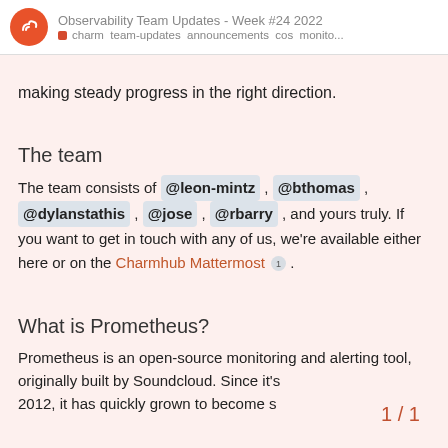Observability Team Updates - Week #24 2022
charm  team-updates  announcements  cos  monito...
making steady progress in the right direction.
The team
The team consists of @leon-mintz , @bthomas , @dylanstathis , @jose , @rbarry , and yours truly. If you want to get in touch with any of us, we're available either here or on the Charmhub Mattermost 1 .
What is Prometheus?
Prometheus is an open-source monitoring and alerting tool, originally built by Soundcloud. Since it's 2012, it has quickly grown to become s
1 / 1